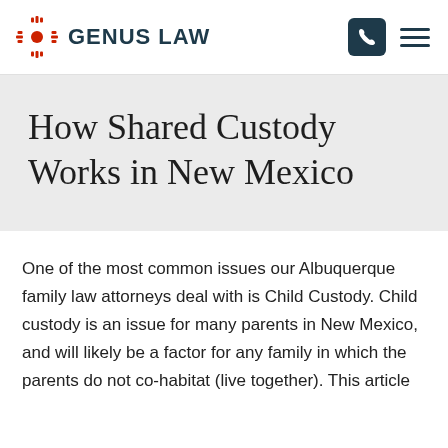GENUS LAW
How Shared Custody Works in New Mexico
One of the most common issues our Albuquerque family law attorneys deal with is Child Custody. Child custody is an issue for many parents in New Mexico, and will likely be a factor for any family in which the parents do not co-habitat (live together). This article